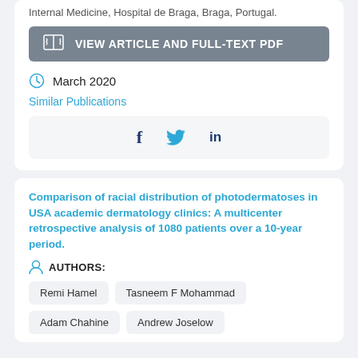Internal Medicine, Hospital de Braga, Braga, Portugal.
VIEW ARTICLE AND FULL-TEXT PDF
March 2020
Similar Publications
[Figure (other): Social sharing icons: Facebook (f), Twitter (bird), LinkedIn (in)]
Comparison of racial distribution of photodermatoses in USA academic dermatology clinics: A multicenter retrospective analysis of 1080 patients over a 10-year period.
AUTHORS:
Remi Hamel
Tasneem F Mohammad
Adam Chahine
Andrew Joselow